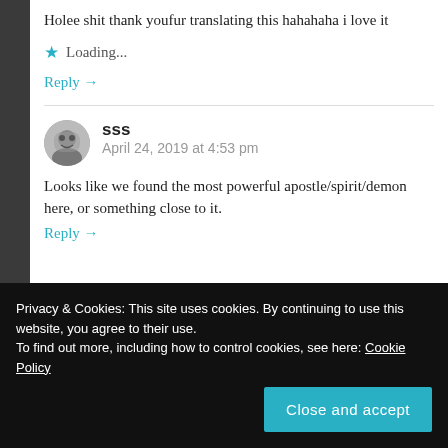Holee shit thank youfur translating this hahahaha i love it
★ Loading...
Reply →
sss
April 24, 2019 at 4:53 pm
Looks like we found the most powerful apostle/spirit/demon here, or something close to it.
Reply →
Privacy & Cookies: This site uses cookies. By continuing to use this website, you agree to their use.
To find out more, including how to control cookies, see here: Cookie Policy
Close and accept